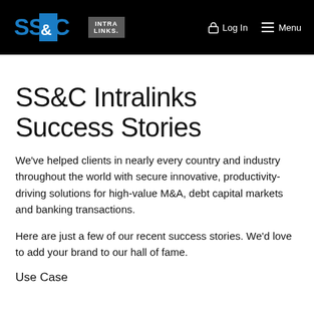SS&C Intralinks — Log In  Menu
SS&C Intralinks Success Stories
We've helped clients in nearly every country and industry throughout the world with secure innovative, productivity-driving solutions for high-value M&A, debt capital markets and banking transactions.
Here are just a few of our recent success stories. We'd love to add your brand to our hall of fame.
Use Case